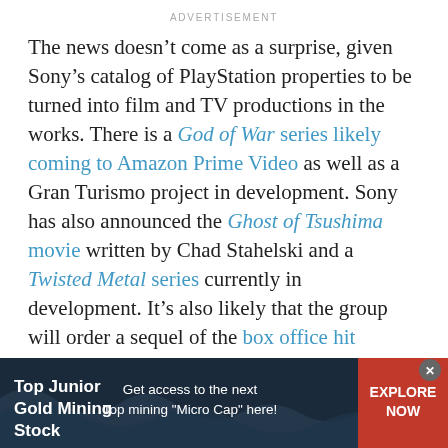ADVERTISEMENT
The news doesn’t come as a surprise, given Sony’s catalog of PlayStation properties to be turned into film and TV productions in the works. There is a God of War series likely coming to Amazon Prime Video as well as a Gran Turismo project in development. Sony has also announced the Ghost of Tsushima movie written by Chad Stahelski and a Twisted Metal series currently in development. It’s also likely that the group will order a sequel of the box office hit Uncharted, since it sold so well and the director has expressed hope for another film.
So far, we know the most about the HBO adaptation
[Figure (infographic): Advertisement banner for Top Junior Gold Mining Stock. Dark navy background with wave graphics. Left section: 'Top Junior Gold Mining Stock' in bold white text. Middle: 'Get access to the next Top mining "Micro Cap" here!' Right: red button with 'EXPLORE NOW'. Close button (x) in top right corner.]